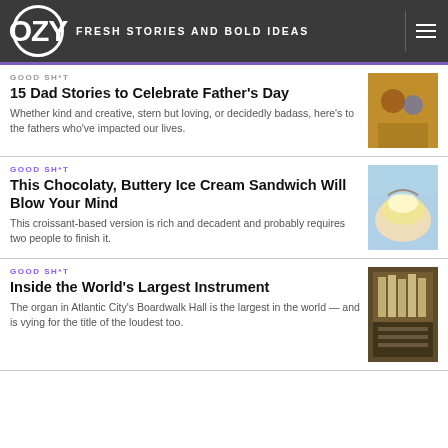OZY — FRESH STORIES AND BOLD IDEAS
GOOD SH*T
15 Dad Stories to Celebrate Father's Day
Whether kind and creative, stern but loving, or decidedly badass, here's to the fathers who've impacted our lives.
[Figure (photo): Photo of people, likely a father with children]
GOOD SH*T
This Chocolaty, Buttery Ice Cream Sandwich Will Blow Your Mind
This croissant-based version is rich and decadent and probably requires two people to finish it.
[Figure (photo): Photo of ice cream sandwich held in hands]
GOOD SH*T
Inside the World's Largest Instrument
The organ in Atlantic City's Boardwalk Hall is the largest in the world — and is vying for the title of the loudest too.
[Figure (photo): Photo of a large pipe organ interior]